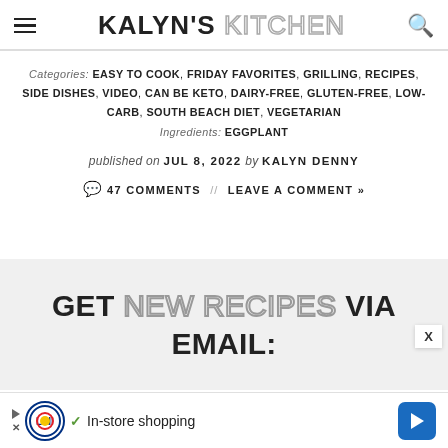KALYN'S KITCHEN
Categories: EASY TO COOK, FRIDAY FAVORITES, GRILLING, RECIPES, SIDE DISHES, VIDEO, CAN BE KETO, DAIRY-FREE, GLUTEN-FREE, LOW-CARB, SOUTH BEACH DIET, VEGETARIAN
Ingredients: EGGPLANT
published on JUL 8, 2022 by KALYN DENNY
47 COMMENTS // LEAVE A COMMENT »
GET NEW RECIPES VIA EMAIL:
[Figure (other): Lidl advertisement banner with play arrow icon, Lidl circular logo, checkmark, text 'In-store shopping', and blue navigation arrow button]